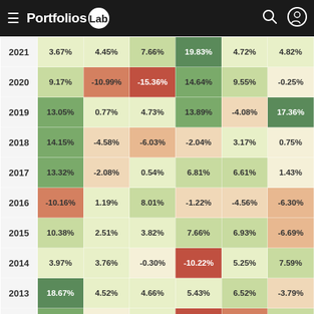Portfolios Lab
| Year | Col1 | Col2 | Col3 | Col4 | Col5 | Col6 |
| --- | --- | --- | --- | --- | --- | --- |
| 2021 | 3.67% | 4.45% | 7.66% | 19.83% | 4.72% | 4.82% |
| 2020 | 9.17% | -10.99% | -15.36% | 14.64% | 9.55% | -0.25% |
| 2019 | 13.05% | 0.77% | 4.73% | 13.89% | -4.08% | 17.36% |
| 2018 | 14.15% | -4.58% | -6.03% | -2.04% | 3.17% | 0.75% |
| 2017 | 13.32% | -2.08% | 0.54% | 6.81% | 6.61% | 1.43% |
| 2016 | -10.16% | 1.19% | 8.01% | -1.22% | -4.56% | -6.30% |
| 2015 | 10.38% | 2.51% | 3.82% | 7.66% | 6.93% | -6.69% |
| 2014 | 3.97% | 3.76% | -0.30% | -10.22% | 5.25% | 7.59% |
| 2013 | 18.67% | 4.52% | 4.66% | 5.43% | 6.52% | -3.79% |
| 2012 | 12.85% | -1.20% | 3.55% | -14.93% | -10.50% | 8.55% |